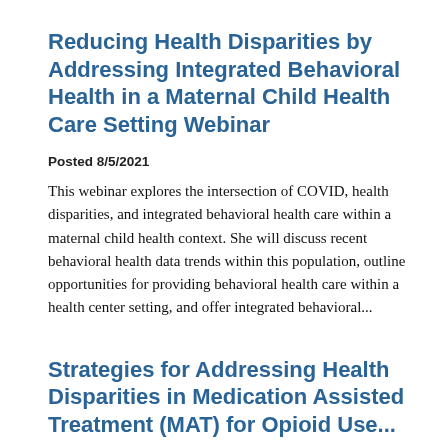Reducing Health Disparities by Addressing Integrated Behavioral Health in a Maternal Child Health Care Setting Webinar
Posted 8/5/2021
This webinar explores the intersection of COVID, health disparities, and integrated behavioral health care within a maternal child health context. She will discuss recent behavioral health data trends within this population, outline opportunities for providing behavioral health care within a health center setting, and offer integrated behavioral...
Strategies for Addressing Health Disparities in Medication Assisted Treatment (MAT) for Opioid Use...